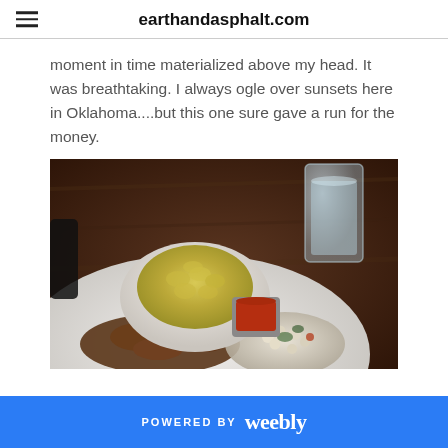earthandasphalt.com
moment in time materialized above my head. It was breathtaking. I always ogle over sunsets here in Oklahoma....but this one sure gave a run for the money.
[Figure (photo): A plate of food on a wooden table: a white bowl filled with mac and cheese, fried pieces of meat, a small metal sauce cup with red sauce, a bean salad with greens, and a tall glass of water in the background.]
POWERED BY weebly